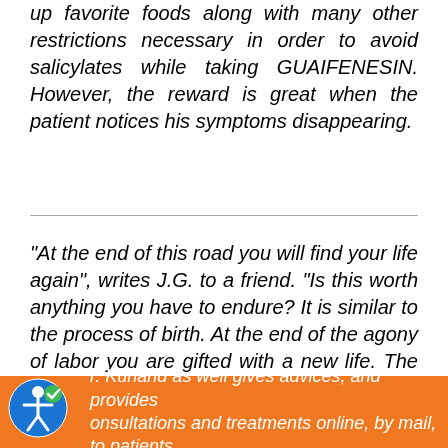up favorite foods along with many other restrictions necessary in order to avoid salicylates while taking GUAIFENESIN. However, the reward is great when the patient notices his symptoms disappearing.
"At the end of this road you will find your life again", writes J.G. to a friend. "Is this worth anything you have to endure? It is similar to the process of birth. At the end of the agony of labor you are gifted with a new life. The pain is forgotten in the joy. The reward is the most precious...
Dr. Kurland as well gives advices, and provides consultations and treatments online, by mail, to patients